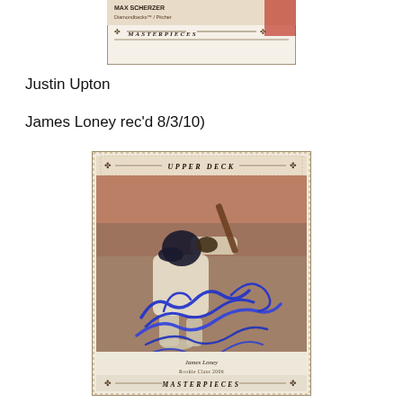[Figure (photo): Top portion of an Upper Deck Masterpieces baseball card showing Max Scherzer, Diamondbacks Pitcher, with decorative border and Masterpieces branding]
Justin Upton
James Loney rec'd 8/3/10)
[Figure (photo): Upper Deck Masterpieces baseball card featuring James Loney, Dodgers, in batting stance, autographed in blue marker with large signature across the card face. Card shows 'JAMES LONEY' and 'ROOKIE CLASS 2006' at bottom with Masterpieces branding.]